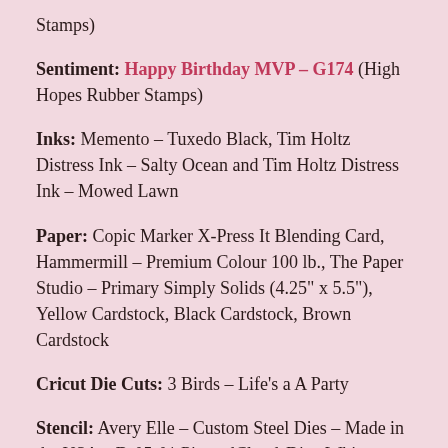Stamps)
Sentiment: Happy Birthday MVP – G174 (High Hopes Rubber Stamps)
Inks: Memento – Tuxedo Black, Tim Holtz Distress Ink – Salty Ocean and Tim Holtz Distress Ink – Mowed Lawn
Paper: Copic Marker X-Press It Blending Card, Hammermill – Premium Colour 100 lb., The Paper Studio – Primary Simply Solids (4.25" x 5.5"), Yellow Cardstock, Black Cardstock, Brown Cardstock
Cricut Die Cuts: 3 Birds – Life's a A Party
Stencil: Avery Elle – Custom Steel Dies – Made in the USA – D-05-01 PiercedCloudsDie , Whimsy Stamps – Grass and Cloud Edger Die Set (Used both to create